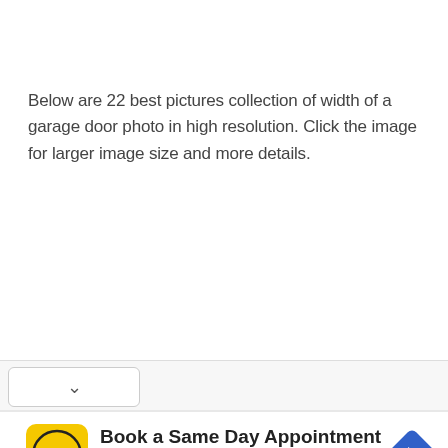Below are 22 best pictures collection of width of a garage door photo in high resolution. Click the image for larger image size and more details.
[Figure (other): Chevron/collapse button bar at the bottom of the main content area]
[Figure (other): Advertisement banner: Hair Cuttery - Book a Same Day Appointment, with yellow HC logo and blue navigation arrow icon]